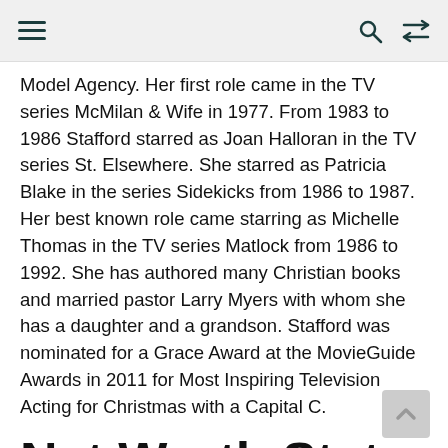[navigation bar with hamburger menu, search icon, and shuffle icon]
Model Agency. Her first role came in the TV series McMilan & Wife in 1977. From 1983 to 1986 Stafford starred as Joan Halloran in the TV series St. Elsewhere. She starred as Patricia Blake in the series Sidekicks from 1986 to 1987. Her best known role came starring as Michelle Thomas in the TV series Matlock from 1986 to 1992. She has authored many Christian books and married pastor Larry Myers with whom she has a daughter and a grandson. Stafford was nominated for a Grace Award at the MovieGuide Awards in 2011 for Most Inspiring Television Acting for Christmas with a Capital C.
Net Worth Stats and More